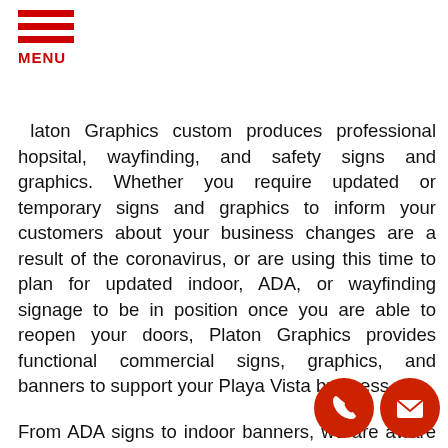MENU
Platon Graphics custom produces professional hopsital, wayfinding, and safety signs and graphics. Whether you require updated or temporary signs and graphics to inform your customers about your business changes are a result of the coronavirus, or are using this time to plan for updated indoor, ADA, or wayfinding signage to be in position once you are able to reopen your doors, Platon Graphics provides functional commercial signs, graphics, and banners to support your Playa Vista business.
From ADA signs to indoor banners, we are aware of the distinct requirements of different niches. Our team takes into consideration your physical space, brand personality and guidelines, and corporate goals to generate the most appropriate signs.
Whether you want one little sign or graphic or an entire assortment of branded retail signage, Platon Graphics will produce it for you.